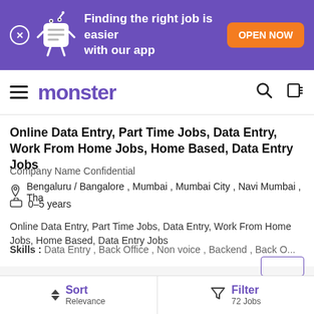[Figure (screenshot): Purple promotional banner with Monster mascot, text 'Finding the right job is easier with our app', and orange 'OPEN NOW' button]
monster
Online Data Entry, Part Time Jobs, Data Entry, Work From Home Jobs, Home Based, Data Entry Jobs
Company Name Confidential
Bengaluru / Bangalore , Mumbai , Mumbai City , Navi Mumbai , Tha
0–5 years
Online Data Entry, Part Time Jobs, Data Entry, Work From Home Jobs, Home Based, Data Entry Jobs
Skills :   Data Entry ,   Back Office ,   Non voice ,   Backend ,   Back O...
Posted: a day ago |  Jobs For Women | Work From Home | Jobs For COVID-19 Layoffs
Sort Relevance | Filter 72 Jobs